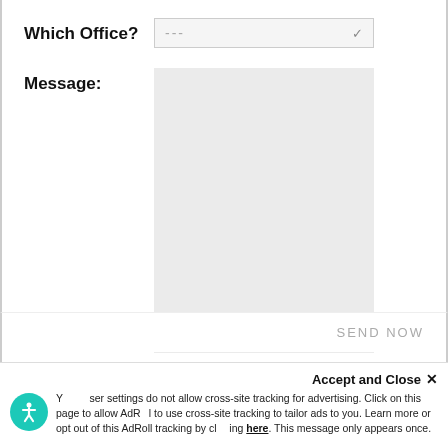Which Office? ---
Message:
SEND NOW
Accept and Close ×
Your browser settings do not allow cross-site tracking for advertising. Click on this page to allow AdRoll to use cross-site tracking to tailor ads to you. Learn more or opt out of this AdRoll tracking by clicking here. This message only appears once.